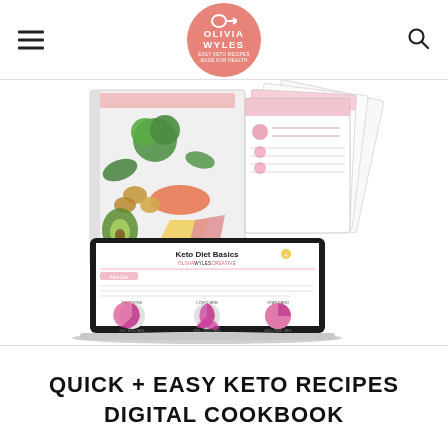Olivia Wyles
[Figure (photo): Product photo of Quick + Easy Keto Recipes Digital Cookbook, showing a cookbook with keto foods on the cover, printable cheat sheets fanned out, and a laptop displaying 'Keto Diet Basics' page with pie charts.]
QUICK + EASY KETO RECIPES DIGITAL COOKBOOK